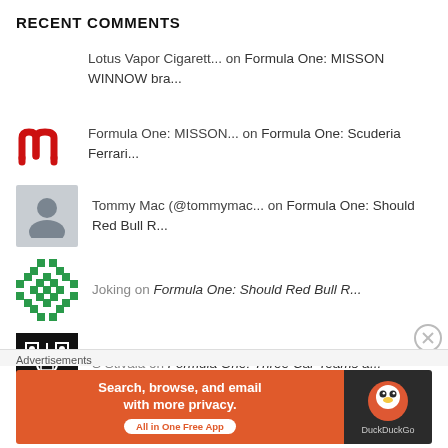RECENT COMMENTS
Lotus Vapor Cigarett... on Formula One: MISSON WINNOW bra...
Formula One: MISSON... on Formula One: Scuderia Ferrari...
Tommy Mac (@tommymac... on Formula One: Should Red Bull R...
Joking on Formula One: Should Red Bull R...
S Stivala on Formula One: Three Car Teams a...
Advertisements
[Figure (infographic): DuckDuckGo advertisement banner: orange background with text 'Search, browse, and email with more privacy. All in One Free App' and DuckDuckGo duck logo on dark right panel]